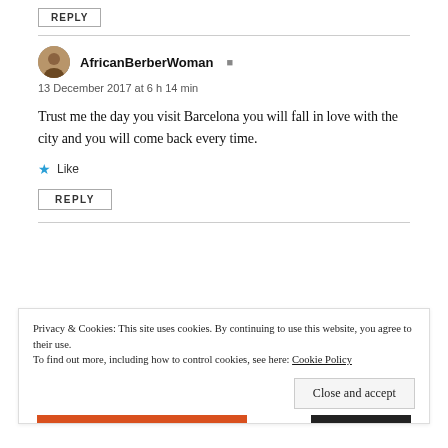REPLY
AfricanBerberWoman
13 December 2017 at 6 h 14 min
Trust me the day you visit Barcelona you will fall in love with the city and you will come back every time.
Like
REPLY
Privacy & Cookies: This site uses cookies. By continuing to use this website, you agree to their use. To find out more, including how to control cookies, see here: Cookie Policy
Close and accept